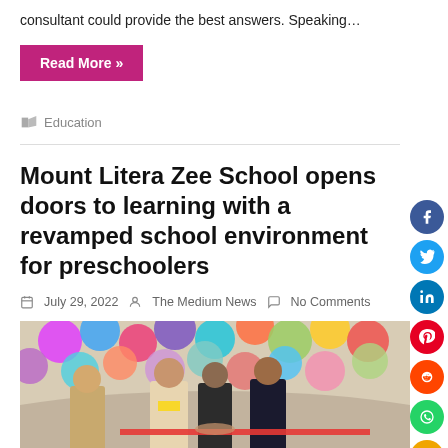consultant could provide the best answers. Speaking…
Read More »
Education
Mount Litera Zee School opens doors to learning with a revamped school environment for preschoolers
July 29, 2022   The Medium News   No Comments
[Figure (photo): Group of people cutting a ribbon at the Mount Litera Zee School opening event, with colorful balloons in the background]